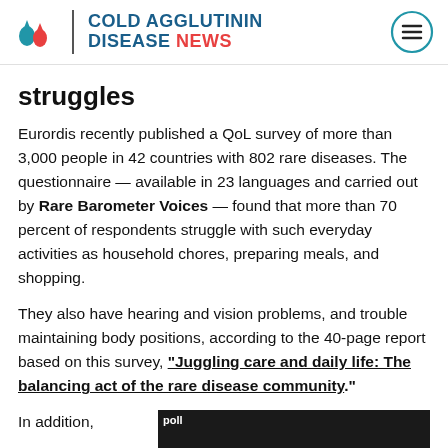COLD AGGLUTININ DISEASE NEWS
struggles
Eurordis recently published a QoL survey of more than 3,000 people in 42 countries with 802 rare diseases. The questionnaire — available in 23 languages and carried out by Rare Barometer Voices — found that more than 70 percent of respondents struggle with such everyday activities as household chores, preparing meals, and shopping.
They also have hearing and vision problems, and trouble maintaining body positions, according to the 40-page report based on this survey, "Juggling care and daily life: The balancing act of the rare disease community."
In addition,
[Figure (screenshot): Dark background image with text 'poll' and partial text 'Quality of Life? [Subm...']